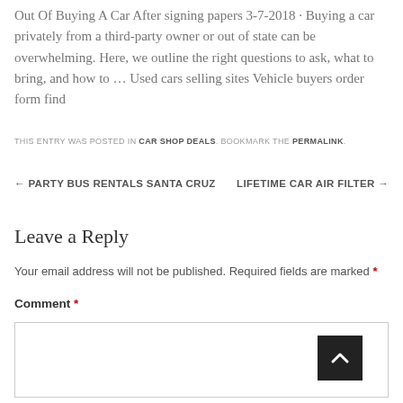Out Of Buying A Car After signing papers 3-7-2018 · Buying a car privately from a third-party owner or out of state can be overwhelming. Here, we outline the right questions to ask, what to bring, and how to … Used cars selling sites Vehicle buyers order form find
THIS ENTRY WAS POSTED IN CAR SHOP DEALS. BOOKMARK THE PERMALINK.
← PARTY BUS RENTALS SANTA CRUZ    LIFETIME CAR AIR FILTER →
Leave a Reply
Your email address will not be published. Required fields are marked *
Comment *